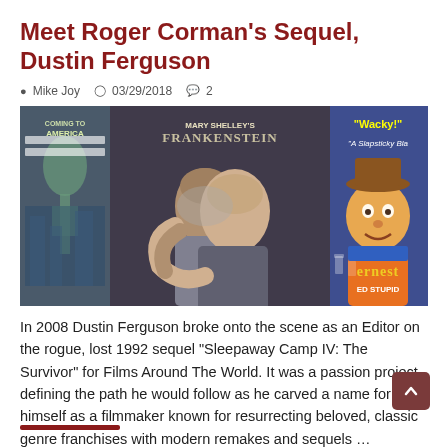Meet Roger Corman's Sequel, Dustin Ferguson
Mike Joy   03/29/2018   2
[Figure (photo): Two men posing together in front of movie posters including Mary Shelley's Frankenstein and Ernest. One man has his arms around the other from behind. Movie posters visible include 'Coming to America', 'Mary Shelley's Frankenstein', and 'Ernest Goes Stupid'. Text on poster reads 'Wacky!' and 'A Slapsticky Bla...']
In 2008 Dustin Ferguson broke onto the scene as an Editor on the rogue, lost 1992 sequel “Sleepaway Camp IV: The Survivor” for Films Around The World. It was a passion project, defining the path he would follow as he carved a name for himself as a filmmaker known for resurrecting beloved, classic genre franchises with modern remakes and sequels …